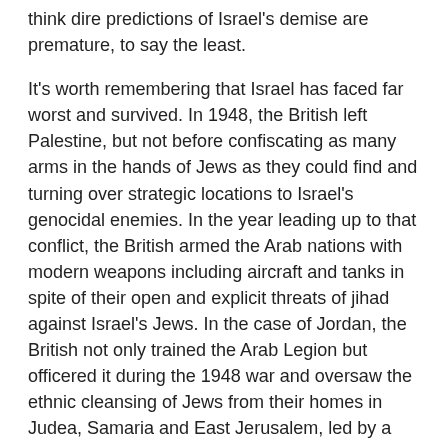think dire predictions of Israel's demise are premature, to say the least.
It's worth remembering that Israel has faced far worst and survived. In 1948, the British left Palestine, but not before confiscating as many arms in the hands of Jews as they could find and turning over strategic locations to Israel's genocidal enemies. In the year leading up to that conflict, the British armed the Arab nations with modern weapons including aircraft and tanks in spite of their open and explicit threats of jihad against Israel's Jews. In the case of Jordan, the British not only trained the Arab Legion but officered it during the 1948 war and oversaw the ethnic cleansing of Jews from their homes in Judea, Samaria and East Jerusalem, led by a Jew hating British Colonel by the name of John Glubb, AKA Glubb Pasha. And this was a mere three years after the liberation of Auschwitz.
The Jews had no aircraft or artillery, and used homemade 'Davidka' mortars and improvised armored trucks as 'tanks'. They were unable to purchase weapons from the United States because President Truman decided to put an arms